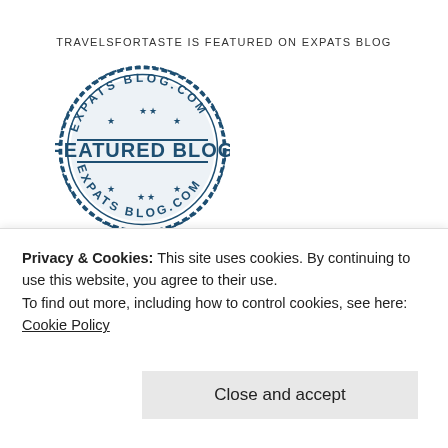TRAVELSFORTASTE IS FEATURED ON EXPATS BLOG
[Figure (logo): Expats Blog .com Featured Blog stamp/badge — circular dark blue stamp with stars and text 'EXPATS BLOG COM' at top and bottom, 'FEATURED BLOG' in the center]
READ TRAVELSFORTASTE REVIEWS ON ZOMATO
View my food journey on Zomato!
Privacy & Cookies: This site uses cookies. By continuing to use this website, you agree to their use.
To find out more, including how to control cookies, see here: Cookie Policy
Close and accept